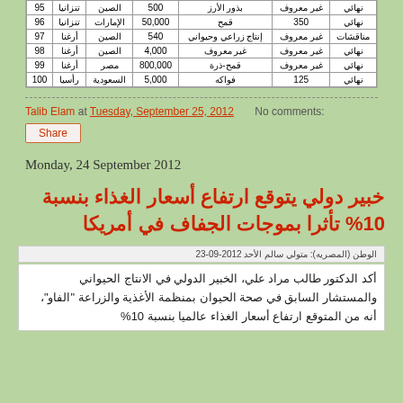| رقم | قارة | بلد | القيمة | المنتج | الحالة |
| --- | --- | --- | --- | --- | --- |
| 95 | تنزانيا | الصين | 500 | بذور الأرز | غير معروف | نهائي |
| 96 | تنزانيا | الإمارات | 50,000 | قمح | 350 | نهائي |
| 97 | أرغنا | الصين | 540 | إنتاج زراعي وحيواني | غير معروف | مناقشات |
| 98 | أرغنا | الصين | 4,000 | غير معروف | غير معروف | نهائي |
| 99 | أرغنا | مصر | 800,000 | قمح-ذرة | غير معروف | نهائي |
| 100 | رأسيا | السعودية | 5,000 | فواكه | 125 | نهائي |
Talib Elam at Tuesday, September 25, 2012    No comments:
Share
Monday, 24 September 2012
خبير دولي يتوقع ارتفاع أسعار الغذاء بنسبة 10% تأثرا بموجات الجفاف في أمريكا
الوطن (المصريه): متولي سالم الأحد 2012-09-23
أكد الدكتور طالب مراد علي، الخبير الدولي في الانتاج الحيواني والمستشار السابق في صحة الحيوان بمنظمة الأغذية والزراعة "الفاو"، أنه من المتوقع ارتفاع أسعار الغذاء عالميا بنسبة 10%